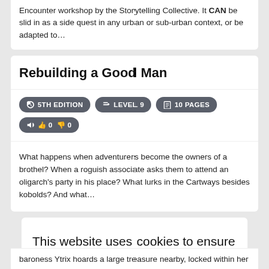Encounter workshop by the Storytelling Collective. It CAN be slid in as a side quest in any urban or sub-urban context, or be adapted to…
Rebuilding a Good Man
5TH EDITION   LEVEL 9   10 PAGES   👍 0  👎 0
What happens when adventurers become the owners of a brothel? When a roguish associate asks them to attend an oligarch's party in his place? What lurks in the Cartways besides kobolds? And what…
This website uses cookies to ensure you get the best experience on our website.
Learn more
Got it!
baroness Ytrix hoards a large treasure nearby, locked within her